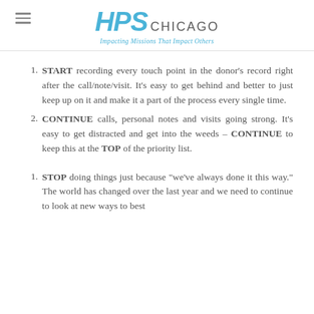[Figure (logo): HPS Chicago logo with tagline 'Impacting Missions That Impact Others' and hamburger menu icon on the left]
START recording every touch point in the donor's record right after the call/note/visit. It's easy to get behind and better to just keep up on it and make it a part of the process every single time.
CONTINUE calls, personal notes and visits going strong. It's easy to get distracted and get into the weeds – CONTINUE to keep this at the TOP of the priority list.
STOP doing things just because "we've always done it this way." The world has changed over the last year and we need to continue to look at new ways to best